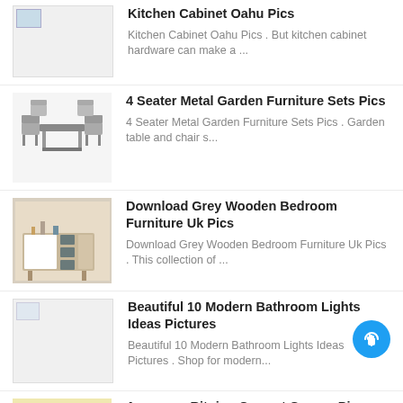Kitchen Cabinet Oahu Pics - Kitchen Cabinet Oahu Pics . But kitchen cabinet hardware can make a ...
4 Seater Metal Garden Furniture Sets Pics - 4 Seater Metal Garden Furniture Sets Pics . Garden table and chair s...
Download Grey Wooden Bedroom Furniture Uk Pics - Download Grey Wooden Bedroom Furniture Uk Pics . This collection of ...
Beautiful 10 Modern Bathroom Lights Ideas Pictures - Beautiful 10 Modern Bathroom Lights Ideas Pictures . Shop for modern...
Awesome Ritning Carport Garage Pics